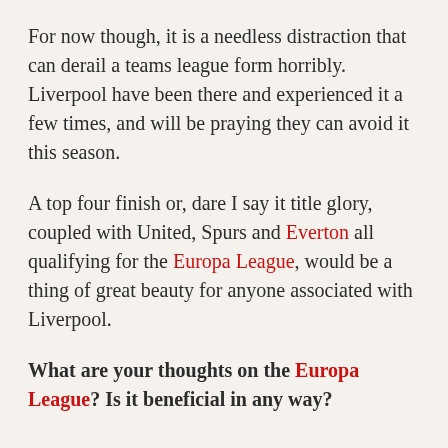For now though, it is a needless distraction that can derail a teams league form horribly. Liverpool have been there and experienced it a few times, and will be praying they can avoid it this season.
A top four finish or, dare I say it title glory, coupled with United, Spurs and Everton all qualifying for the Europa League, would be a thing of great beauty for anyone associated with Liverpool.
What are your thoughts on the Europa League? Is it beneficial in any way?